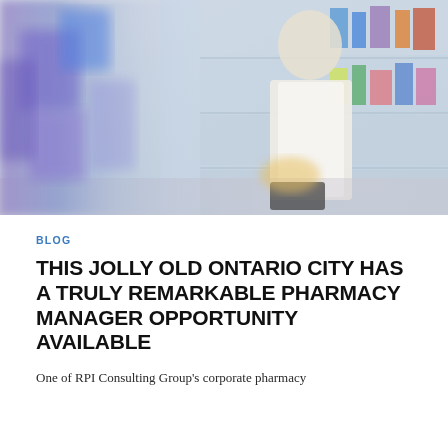[Figure (photo): A female pharmacist in a white lab coat standing behind a pharmacy counter, smiling, with shelves of medications visible in the background. The left side of the image shows blurred colorful pharmacy product packaging.]
BLOG
THIS JOLLY OLD ONTARIO CITY HAS A TRULY REMARKABLE PHARMACY MANAGER OPPORTUNITY AVAILABLE
One of RPI Consulting Group's corporate pharmacy